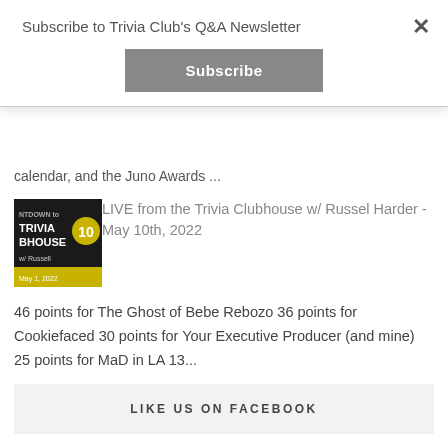Subscribe to Trivia Club's Q&A Newsletter
Subscribe
calendar, and the Juno Awards ...
[Figure (photo): Thumbnail image for LIVE from the Trivia Clubhouse podcast episode, showing dark background with yellow and white text: NTDOWN to TRIVIA BHOUSE w/ Russell, dated May 1, 2022]
LIVE from the Trivia Clubhouse w/ Russel Harder - May 10th, 2022
46 points for The Ghost of Bebe Rebozo 36 points for Cookiefaced 30 points for Your Executive Producer (and mine) 25 points for MaD in LA 13...
LIKE US ON FACEBOOK